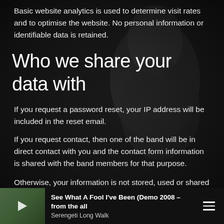Basic website analytics is used to determine visit rates and to optimise the website. No personal information or identifiable data is retained.
Who we share your data with
If you request a password reset, your IP address will be included in the reset email.
If you request contact, then one of the band will be in direct contact with you and the contact form information is shared with the band members for that purpose.
Otherwise, your information is not stored, used or shared in any other way
[Figure (photo): Dark background photo of a person (musician) with dramatic lighting, partially visible]
See What A Fool I've Been (Demo 2008 – from the all
Serengeti Long Walk